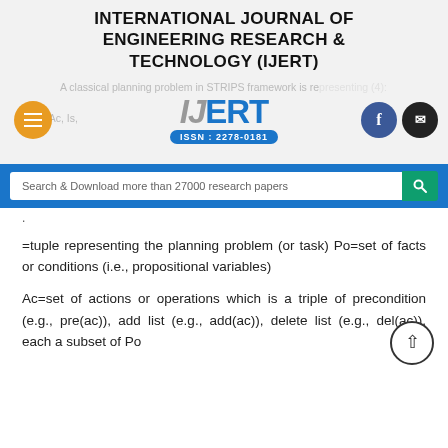INTERNATIONAL JOURNAL OF ENGINEERING RESEARCH & TECHNOLOGY (IJERT)
[Figure (logo): IJERT logo with ISSN: 2278-0181, orange hamburger menu button on left, Facebook and email icons on right, faded background text about classical planning problem in STRIPS framework]
[Figure (other): Search bar with text: Search & Download more than 27000 research papers, with teal search button]
=tuple representing the planning problem (or task) Po=set of facts or conditions (i.e., propositional variables)
Ac=set of actions or operations which is a triple of precondition (e.g., pre(ac)), add list (e.g., add(ac)), delete list (e.g., del(ac)), each a subset of Po